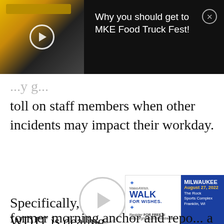[Figure (screenshot): Embedded video player with food truck thumbnail on left and title 'Why you should get to MKE Food Truck Fest!' on right, with close button]
toll on staff members when other incidents may impact their workday.
[Figure (other): Large circular play button in center of page]
[Figure (other): Make-A-Wish Walk For Wishes advertisement for Milwaukee, August 27 2022, The Rock Sports Complex, Franklin WI]
Specifically, WDJT is dealing with a former morning anchor and repo... a pair of discrimination claims filed by news